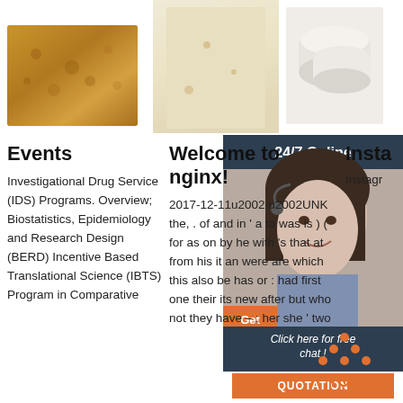[Figure (photo): Three product photos: a rough brick/stone block, a tall rectangular ceramic block, and stacked white cylindrical objects]
[Figure (photo): 24/7 Online customer service banner with agent photo, Get button, Click here for free chat text, QUOTATION button]
Events
Investigational Drug Service (IDS) Programs. Overview; Biostatistics, Epidemiology and Research Design (BERD) Incentive Based Translational Science (IBTS) Program in Comparative
Welcome to nginx!
2017-12-11u2002·u2002UNK the, . of and in ' a to was is ) ( for as on by he with 's that at from his it an were are which this also be has or : had first one their its new after but who not they have – ; her she ' two
Insta
Instagr